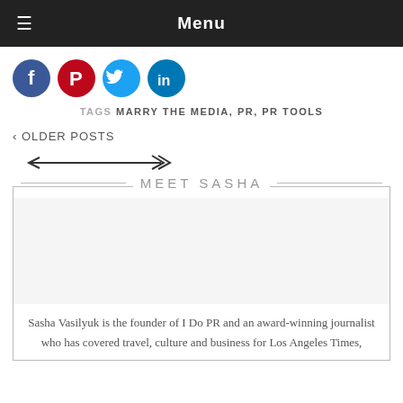Menu
[Figure (illustration): Four circular social media icons: Facebook (dark blue), Pinterest (red), Twitter (light blue), LinkedIn (blue)]
TAGS MARRY THE MEDIA, PR, PR TOOLS
‹ OLDER POSTS
[Figure (illustration): Decorative arrow pointing right with feathered tail on left and arrowhead on right]
MEET SASHA
[Figure (photo): Photo of Sasha (placeholder/blank area)]
Sasha Vasilyuk is the founder of I Do PR and an award-winning journalist who has covered travel, culture and business for Los Angeles Times,